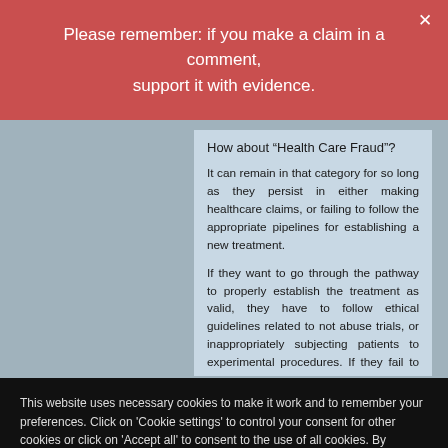Please remember: if you make a claim in a comment, support it with evidence.
How about “Health Care Fraud”?
It can remain in that category for so long as they persist in either making healthcare claims, or failing to follow the appropriate pipelines for establishing a new treatment.
If they want to go through the pathway to properly establish the treatment as valid, they have to follow ethical guidelines related to not abuse trials, or inappropriately subjecting patients to experimental procedures. If they fail to do so, we are right beck to health fraud.
This website uses necessary cookies to make it work and to remember your preferences. Click on 'Cookie settings' to control your consent for other cookies or click on 'Accept all' to consent to the use of all cookies. By continuing to browse this website you are agreeing to our Privacy policy.